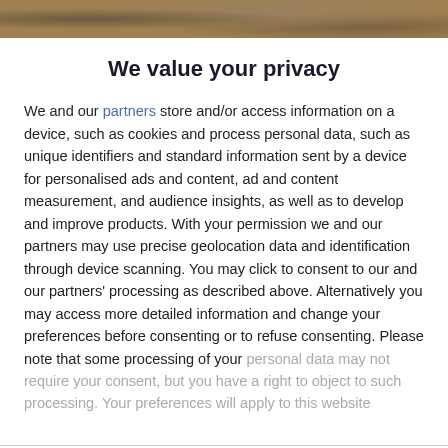[Figure (photo): Partial photo strip at the top of the page showing a blurred outdoor/nature scene in brown and grey tones]
We value your privacy
We and our partners store and/or access information on a device, such as cookies and process personal data, such as unique identifiers and standard information sent by a device for personalised ads and content, ad and content measurement, and audience insights, as well as to develop and improve products. With your permission we and our partners may use precise geolocation data and identification through device scanning. You may click to consent to our and our partners' processing as described above. Alternatively you may access more detailed information and change your preferences before consenting or to refuse consenting. Please note that some processing of your personal data may not require your consent, but you have a right to object to such processing. Your preferences will apply to this website.
AGREE
MORE OPTIONS